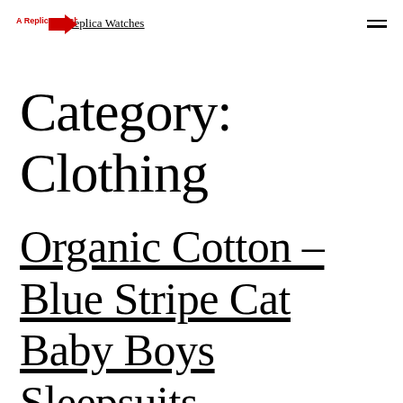A Replica Watches
Category: Clothing
Organic Cotton – Blue Stripe Cat Baby Boys Sleepsuits